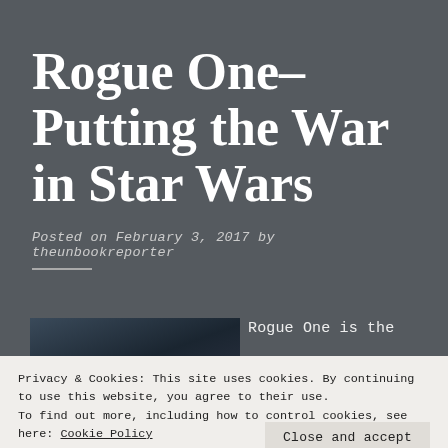Rogue One–Putting the War in Star Wars
Posted on February 3, 2017 by theunbookreporter
[Figure (photo): Movie scene photo from Rogue One, showing dark cinematic imagery with characters]
Rogue One is the
Privacy & Cookies: This site uses cookies. By continuing to use this website, you agree to their use.
To find out more, including how to control cookies, see here: Cookie Policy
Close and accept